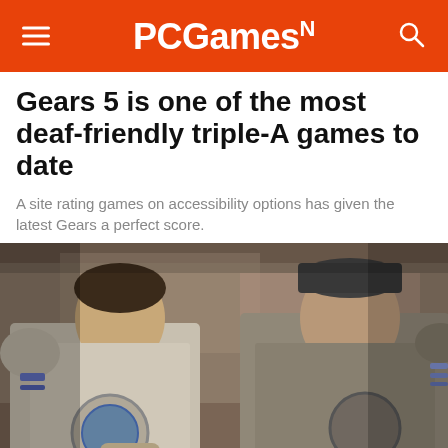PCGamesN
Gears 5 is one of the most deaf-friendly triple-A games to date
A site rating games on accessibility options has given the latest Gears a perfect score.
[Figure (photo): Screenshot from Gears 5 video game showing two heavily armored soldiers in close-up, appearing to fist-bump or shake hands. The character on the left wears white and blue armor with a circular emblem on the chest. The character on the right wears grey/brown weathered armor. Background shows a blurred ruined structure.]